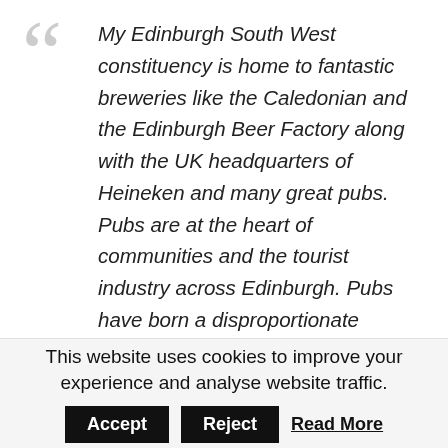My Edinburgh South West constituency is home to fantastic breweries like the Caledonian and the Edinburgh Beer Factory along with the UK headquarters of Heineken and many great pubs. Pubs are at the heart of communities and the tourist industry across Edinburgh. Pubs have born a disproportionate burden as a result of the pandemic and the Scottish Government has given 100% business rates relief for the hospitality industry until at least March 2022. The UK Government should consider cutting unfair taxes on pubs that are hampering their recovery. I'm supporting the Long Live the Local campaign and
This website uses cookies to improve your experience and analyse website traffic.